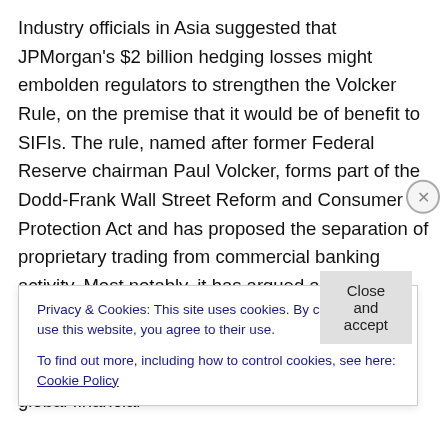Industry officials in Asia suggested that JPMorgan's $2 billion hedging losses might embolden regulators to strengthen the Volcker Rule, on the premise that it would be of benefit to SIFIs. The rule, named after former Federal Reserve chairman Paul Volcker, forms part of the Dodd-Frank Wall Street Reform and Consumer Protection Act and has proposed the separation of proprietary trading from commercial banking activity. Most notably, it has argued against investing in derivatives or using derivatives as a hedge on investments. The rule has, however, faced strong opposition from many of the large global financial
Privacy & Cookies: This site uses cookies. By continuing to use this website, you agree to their use.
To find out more, including how to control cookies, see here: Cookie Policy
Close and accept